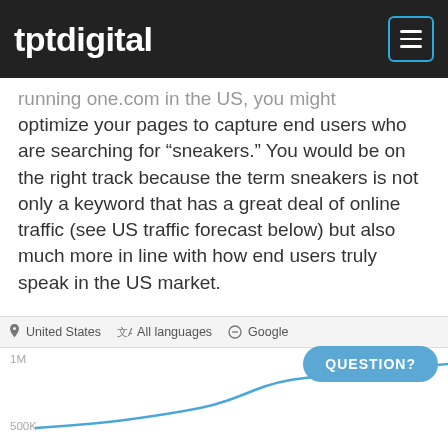tptdigital
running one.com in the US, you might optimize your pages to capture end users who are searching for “sneakers.” You would be on the right track because the term sneakers is not only a keyword that has a great deal of online traffic (see US traffic forecast below) but also much more in line with how end users truly speak in the US market.
[Figure (screenshot): Google Keyword Planner screenshot showing filters: United States, All languages, Google. A line chart is visible with a y-axis label of 1M at top and 500K at bottom, with a blue trend line visible at the bottom of the crop. A blue rounded button labeled QUESTION? overlays the chart.]